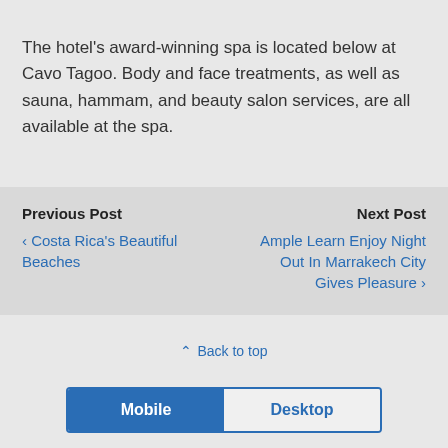The hotel's award-winning spa is located below at Cavo Tagoo. Body and face treatments, as well as sauna, hammam, and beauty salon services, are all available at the spa.
Previous Post
‹ Costa Rica's Beautiful Beaches
Next Post
Ample Learn Enjoy Night Out In Marrakech City Gives Pleasure ›
⇑ Back to top
Mobile | Desktop